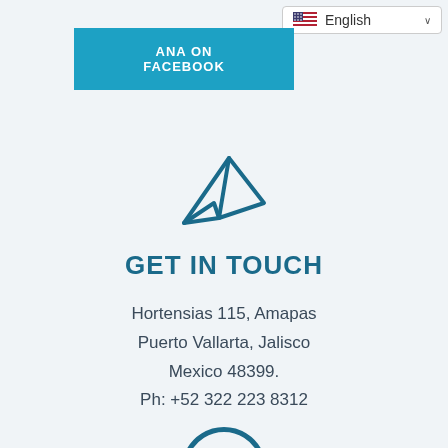[Figure (screenshot): Language selector dropdown showing US flag and 'English' with dropdown arrow]
ANA ON FACEBOOK
[Figure (illustration): Telegram paper plane icon in teal/dark blue color]
GET IN TOUCH
Hortensias 115, Amapas
Puerto Vallarta, Jalisco
Mexico 48399.
Ph: +52 322 223 8312
[Figure (illustration): Bottom portion of a dark teal circle/chat bubble icon, partially visible at bottom of page]